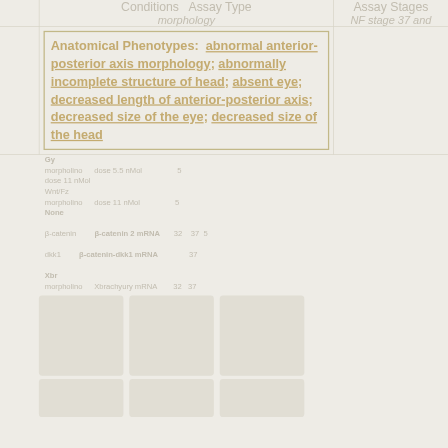| Conditions | Assay Type | Assay Stages |
| --- | --- | --- |
|  | morphology | NF stage 37 and |
Anatomical Phenotypes: abnormal anterior-posterior axis morphology; abnormally incomplete structure of head; absent eye; decreased length of anterior-posterior axis; decreased size of the eye; decreased size of the head
[Figure (photo): Six faded microscopy images of Xenopus embryos arranged in two rows of three, showing various phenotypes related to eye and head morphology]
Various faded data rows with gene/condition information